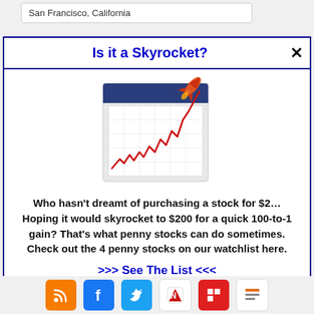San Francisco, California
Is it a Skyrocket?
[Figure (illustration): Calendar-style chart illustration showing a red line graph rising sharply upward with a rocket launching from the top right corner, symbolizing skyrocketing stock prices]
Who hasn't dreamt of purchasing a stock for $2… Hoping it would skyrocket to $200 for a quick 100-to-1 gain? That's what penny stocks can do sometimes. Check out the 4 penny stocks on our watchlist here.
>>> See The List <<<
[Figure (illustration): Social media icons: RSS (orange), Facebook (blue), Twitter (light blue), Apple News (white/red), Flipboard (red), and a news reader app (white)]